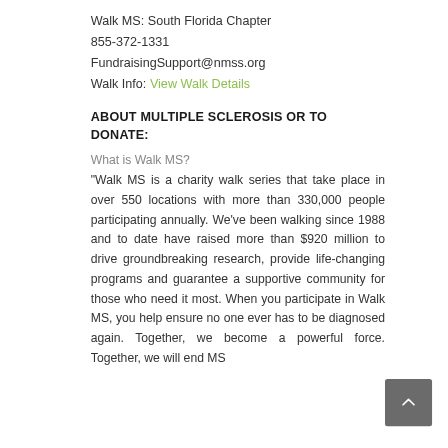Walk MS: South Florida Chapter
855-372-1331
FundraisingSupport@nmss.org
Walk Info: View Walk Details
ABOUT MULTIPLE SCLEROSIS OR TO DONATE:
What is Walk MS?
“Walk MS is a charity walk series that take place in over 550 locations with more than 330,000 people participating annually. We've been walking since 1988 and to date have raised more than $920 million to drive groundbreaking research, provide life-changing programs and guarantee a supportive community for those who need it most. When you participate in Walk MS, you help ensure no one ever has to be diagnosed again. Together, we become a powerful force. Together, we will end MS